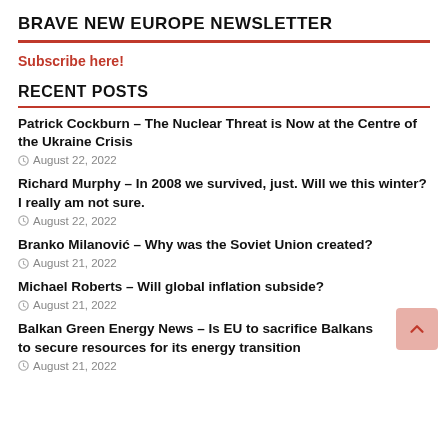BRAVE NEW EUROPE NEWSLETTER
Subscribe here!
RECENT POSTS
Patrick Cockburn – The Nuclear Threat is Now at the Centre of the Ukraine Crisis
August 22, 2022
Richard Murphy – In 2008 we survived, just. Will we this winter? I really am not sure.
August 22, 2022
Branko Milanović – Why was the Soviet Union created?
August 21, 2022
Michael Roberts – Will global inflation subside?
August 21, 2022
Balkan Green Energy News – Is EU to sacrifice Balkans to secure resources for its energy transition
August 21, 2022